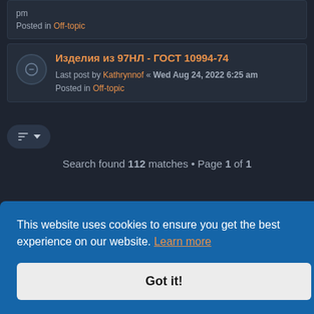pm
Posted in Off-topic
Изделия из 97НЛ - ГОСТ 10994-74
Last post by Kathrynnof « Wed Aug 24, 2022 6:25 am
Posted in Off-topic
Search found 112 matches • Page 1 of 1
Jump to
are UTC
This website uses cookies to ensure you get the best experience on our website. Learn more
Got it!